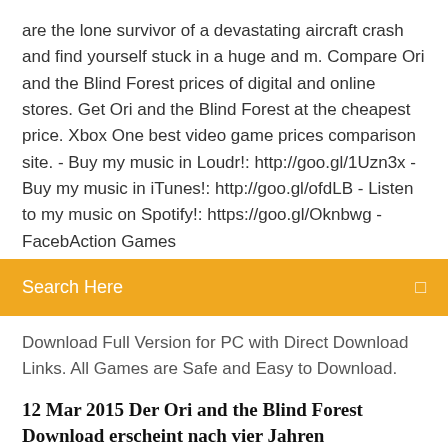are the lone survivor of a devastating aircraft crash and find yourself stuck in a huge and m. Compare Ori and the Blind Forest prices of digital and online stores. Get Ori and the Blind Forest at the cheapest price. Xbox One best video game prices comparison site. - Buy my music in Loudr!: http://goo.gl/1Uzn3x - Buy my music in iTunes!: http://goo.gl/ofdLB - Listen to my music on Spotify!: https://goo.gl/Oknbwg - FacebAction Games
Search Here
Download Full Version for PC with Direct Download Links. All Games are Safe and Easy to Download.
12 Mar 2015 Der Ori and the Blind Forest Download erscheint nach vier Jahren Entwicklungszeit für Windows-PC und kann über den Game-Vertrieb Steam
Activate Ori and the Blind Forest CD Key on your Steam client to download the game and play in You must login to your Steam Account or create one for free. "Ori and the Blind Forest" tells